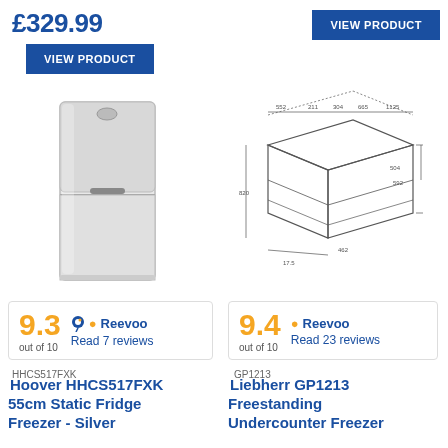£329.99
VIEW PRODUCT
VIEW PRODUCT
[Figure (photo): Hoover HHCS517FXK silver fridge freezer, tall upright unit with two doors]
[Figure (engineering-diagram): Technical dimension diagram of Liebherr GP1213 undercounter freezer showing top, front and side measurements]
9.3 out of 10 Reevoo Read 7 reviews
9.4 out of 10 Reevoo Read 23 reviews
HHCS517FXK
Hoover HHCS517FXK 55cm Static Fridge Freezer - Silver
GP1213
Liebherr GP1213 Freestanding Undercounter Freezer